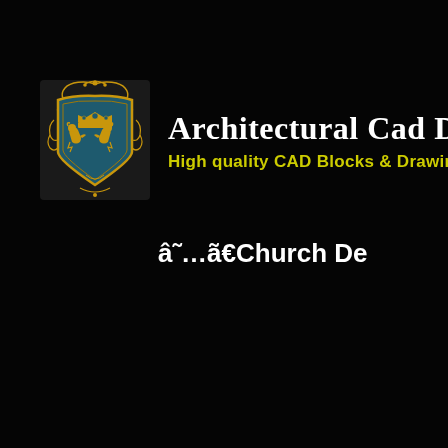[Figure (logo): Heraldic shield logo with gold decorative border, crown at top, two lions, blue-green background, and ornamental scrollwork]
Architectural Cad Drawi
High quality CAD Blocks & Drawings Do
â˜…ã€Church De